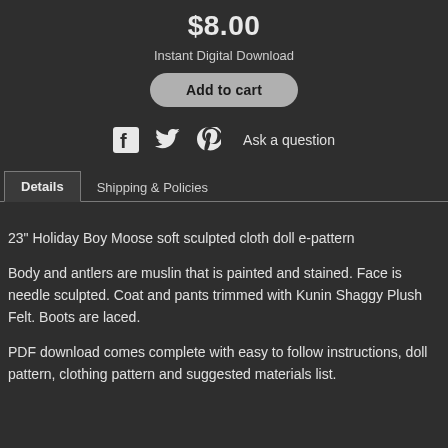$8.00
Instant Digital Download
Add to cart
Ask a question
Details
Shipping & Policies
23" Holiday Boy Moose soft sculpted cloth doll e-pattern
Body and antlers are muslin that is painted and stained. Face is needle sculpted. Coat and pants trimmed with Kunin Shaggy Plush Felt. Boots are laced.
PDF download comes complete with easy to follow instructions, doll pattern, clothing pattern and suggested materials list.